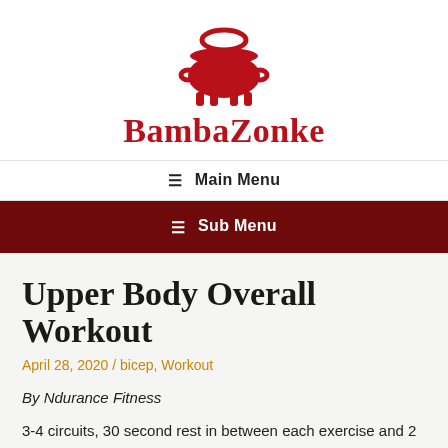[Figure (logo): BambaZonke logo: red pig/pot icon above the text BambaZonke in bold red serif font]
≡ Main Menu
≡ Sub Menu
Upper Body Overall Workout
April 28, 2020 / bicep, Workout
By Ndurance Fitness
3-4 circuits, 30 second rest in between each exercise and 2 minute rest at the end of each circuit.